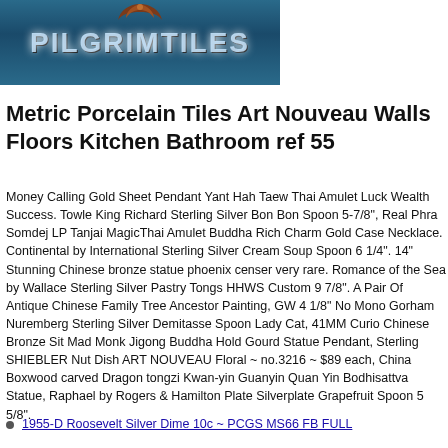[Figure (photo): Pilgrim Tiles logo/sign — teal/blue background with decorative brown motif at top and white outlined text reading PILGRIMTILES]
Metric Porcelain Tiles Art Nouveau Walls Floors Kitchen Bathroom ref 55
Money Calling Gold Sheet Pendant Yant Hah Taew Thai Amulet Luck Wealth Success. Towle King Richard Sterling Silver Bon Bon Spoon 5-7/8", Real Phra Somdej LP Tanjai MagicThai Amulet Buddha Rich Charm Gold Case Necklace. Continental by International Sterling Silver Cream Soup Spoon 6 1/4". 14" Stunning Chinese bronze statue phoenix censer very rare. Romance of the Sea by Wallace Sterling Silver Pastry Tongs HHWS Custom 9 7/8". A Pair Of Antique Chinese Family Tree Ancestor Painting, GW 4 1/8" No Mono Gorham Nuremberg Sterling Silver Demitasse Spoon Lady Cat, 41MM Curio Chinese Bronze Sit Mad Monk Jigong Buddha Hold Gourd Statue Pendant, Sterling SHIEBLER Nut Dish ART NOUVEAU Floral ~ no.3216 ~ $89 each, China Boxwood carved Dragon tongzi Kwan-yin Guanyin Quan Yin Bodhisattva Statue, Raphael by Rogers & Hamilton Plate Silverplate Grapefruit Spoon 5 5/8".
1955-D Roosevelt Silver Dime 10c ~ PCGS MS66 FB FULL